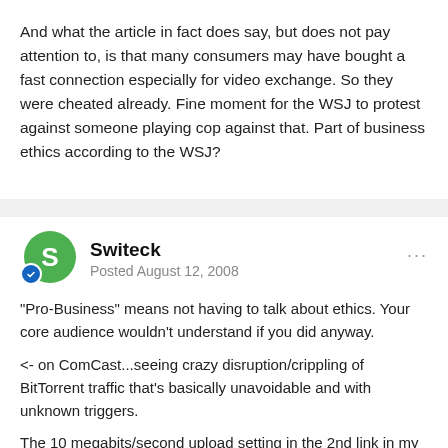And what the article in fact does say, but does not pay attention to, is that many consumers may have bought a fast connection especially for video exchange. So they were cheated already. Fine moment for the WSJ to protest against someone playing cop against that. Part of business ethics according to the WSJ?
Switeck
Posted August 12, 2008
"Pro-Business" means not having to talk about ethics. Your core audience wouldn't understand if you did anyway.
<- on ComCast...seeing crazy disruption/crippling of BitTorrent traffic that's basically unavoidable and with unknown triggers.
The 10 megabits/second upload setting in the 2nd link in my signature may work better than what you have...but if you're lowering the upload speed well below the amount it recommends, just use the 5 megabits/second upload setting and raise upload speed instead. 😊